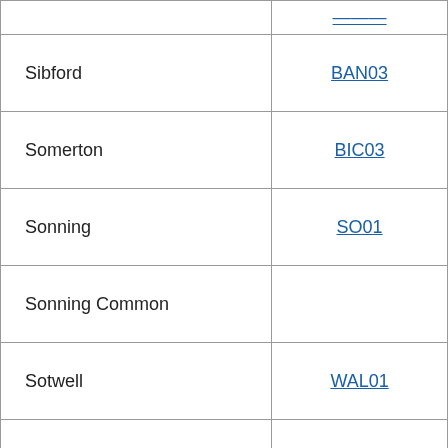| Location | Code |
| --- | --- |
| Sibford | BAN03 |
| Somerton | BIC03 |
| Sonning | SO01 |
| Sonning Common |  |
| Sotwell | WAL01 |
| Souldern | BIC02 |
| South Various |  |
| Southleigh | WIT03 |
| Sparsholt | WAN01 |